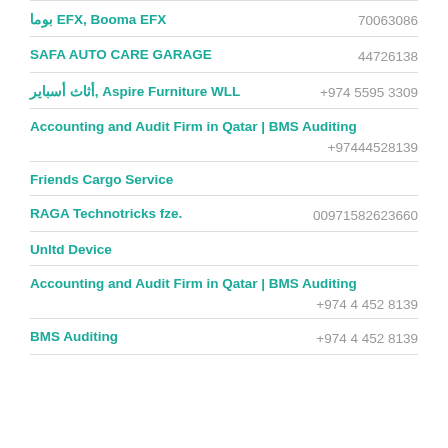بوما EFX, Booma EFX — 70063086
SAFA AUTO CARE GARAGE — 44726138
أثاث أسباير, Aspire Furniture WLL — +974 5595 3309
Accounting and Audit Firm in Qatar | BMS Auditing — +97444528139
Friends Cargo Service
RAGA Technotricks fze. — 00971582623660
Unltd Device
Accounting and Audit Firm in Qatar | BMS Auditing — +974 4 452 8139
BMS Auditing — +974 4 452 8139